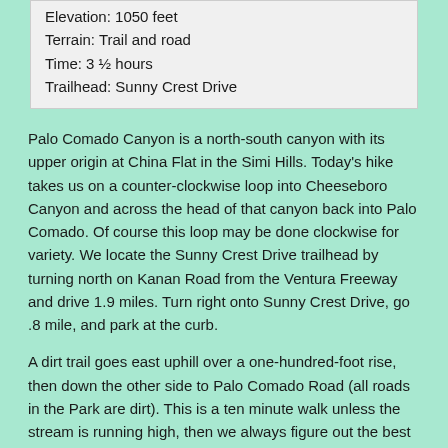Elevation: 1050 feet
Terrain: Trail and road
Time: 3 ½ hours
Trailhead: Sunny Crest Drive
Palo Comado Canyon is a north-south canyon with its upper origin at China Flat in the Simi Hills. Today's hike takes us on a counter-clockwise loop into Cheeseboro Canyon and across the head of that canyon back into Palo Comado. Of course this loop may be done clockwise for variety. We locate the Sunny Crest Drive trailhead by turning north on Kanan Road from the Ventura Freeway and drive 1.9 miles. Turn right onto Sunny Crest Drive, go .8 mile, and park at the curb.
A dirt trail goes east uphill over a one-hundred-foot rise, then down the other side to Palo Comado Road (all roads in the Park are dirt). This is a ten minute walk unless the stream is running high, then we always figure out the best way to cross. Turn right on Palo Comado and walk 200 yards where we find a road on our left going uphill and signed "Cheeseboro Canyon", shown as Ranch Center